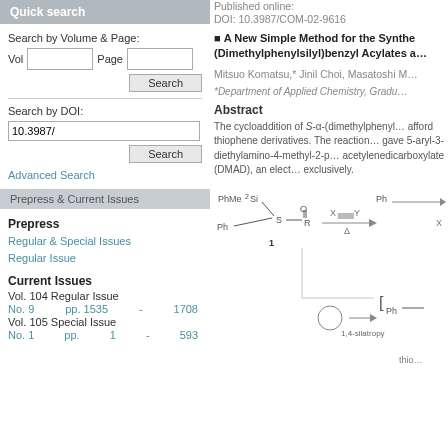Quick search
Search by Volume & Page:
Vol   Page
Search
Search by DOI:
10.3987/
Search
Advanced Search
Prepress & Current Issues
Prepress
Regular & Special Issues
Regular Issue
Current Issues
Vol. 104 Regular Issue
No. 9    pp. 1535  -  1708
Vol. 105 Special Issue
No. 1    pp.  1  -  593
Published online:
DOI: 10.3987/COM-02-9616
■ A New Simple Method for the Synthesis of (Dimethylphenylsilyl)benzyl Acylates a…
Mitsuo Komatsu,* Jinil Choi, Masatoshi M…
*Department of Applied Chemistry, Gradu…
Abstract
The cycloaddition of S-α-(dimethylphenyl… afford thiophene derivatives. The reaction… gave 5-aryl-3- diethylamino-4-methyl-2-p… acetylenedicarboxylate (DMAD), an elect… exclusively.
[Figure (engineering-diagram): Chemical reaction scheme showing compound 1 (PhMe2Si-CH(Ph)-S-C(=O)-R) reacting with X≡Y under heat (Δ) to give a thiophene product, then undergoing 1,4-silatropy to give another intermediate, labeled 'thio…']